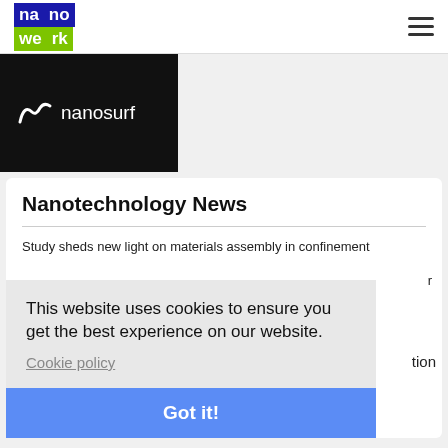nanowerk [logo] [hamburger menu]
[Figure (logo): Nanosurf company logo on black background with white nanosurf text and stylized icon]
Nanotechnology News
Study sheds new light on materials assembly in confinement
This website uses cookies to ensure you get the best experience on our website.
Cookie policy
Got it!
Aug 20, 2022